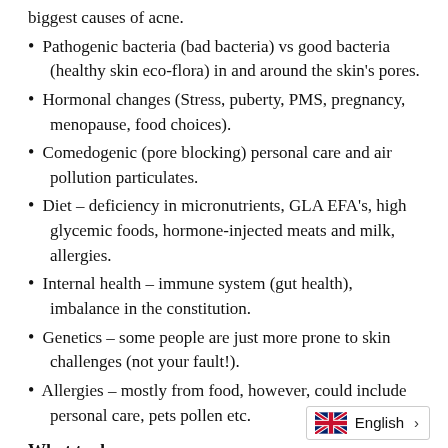biggest causes of acne.
Pathogenic bacteria (bad bacteria) vs good bacteria (healthy skin eco-flora) in and around the skin's pores.
Hormonal changes (Stress, puberty, PMS, pregnancy, menopause, food choices).
Comedogenic (pore blocking) personal care and air pollution particulates.
Diet – deficiency in micronutrients, GLA EFA's, high glycemic foods, hormone-injected meats and milk, allergies.
Internal health – immune system (gut health), imbalance in the constitution.
Genetics – some people are just more prone to skin challenges (not your fault!).
Allergies – mostly from food, however, could include personal care, pets pollen etc.
What to do